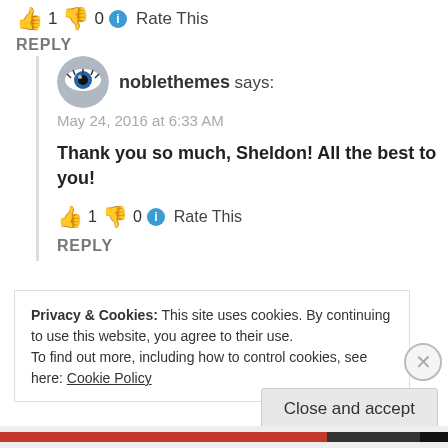👍 1 👎 0 ℹ Rate This
REPLY
[Figure (illustration): Avatar icon for noblethemes — circular icon with eye/mascot graphic]
noblethemes says:
May 24, 2016 at 6:33 AM
Thank you so much, Sheldon! All the best to you!
👍 1 👎 0 ℹ Rate This
REPLY
Privacy & Cookies: This site uses cookies. By continuing to use this website, you agree to their use.
To find out more, including how to control cookies, see here: Cookie Policy
Close and accept